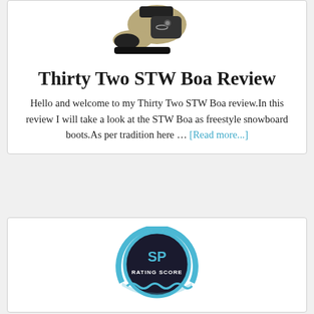[Figure (photo): Thirty Two STW Boa snowboard boot, side view, tan/khaki and black colorway]
Thirty Two STW Boa Review
Hello and welcome to my Thirty Two STW Boa review.In this review I will take a look at the STW Boa as freestyle snowboard boots.As per tradition here … [Read more...]
[Figure (logo): SP Rating Score badge/seal — circular badge with blue border, dark center, text SP RATING SCORE]